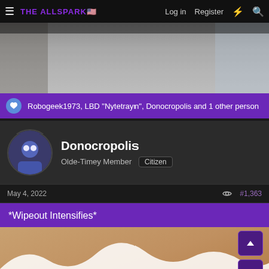THE ALLSPARK | Log in | Register
[Figure (photo): Top banner image showing toy/LEGO figures and robots on a light surface]
Robogeek1973, LBD "Nytetrayn", Donocropolis and 1 other person
Donocropolis
Olde-Timey Member  Citizen
May 4, 2022  #1,363
*Wipeout Intensifies*
[Figure (photo): Partial image showing a sandy/orange background with white wave or splash shapes]